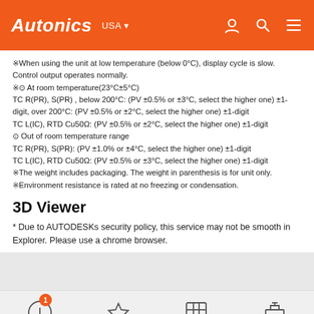Autonics USA
※When using the unit at low temperature (below 0°C), display cycle is slow. Control output operates normally.
※⊙ At room temperature(23°C±5°C)
TC R(PR), S(PR) , below 200°C: (PV ±0.5% or ±3°C, select the higher one) ±1-digit, over 200°C: (PV ±0.5% or ±2°C, select the higher one) ±1-digit
TC L(IC), RTD Cu50Ω: (PV ±0.5% or ±2°C, select the higher one) ±1-digit
⊙ Out of room temperature range
TC R(PR), S(PR): (PV ±1.0% or ±4°C, select the higher one) ±1-digit
TC L(IC), RTD Cu50Ω: (PV ±0.5% or ±3°C, select the higher one) ±1-digit
※The weight includes packaging. The weight in parenthesis is for unit only.
※Environment resistance is rated at no freezing or condensation.
3D Viewer
* Due to AUTODESKs security policy, this service may not be smooth in Explorer. Please use a chrome browser.